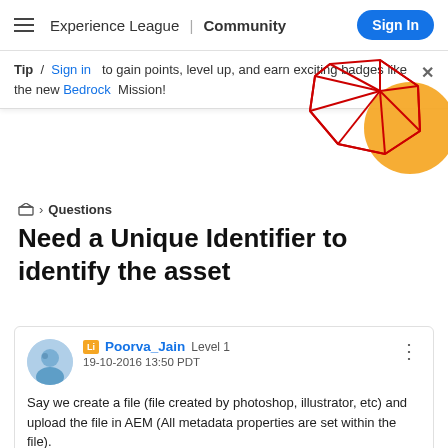Experience League | Community  Sign In
Tip / Sign in to gain points, level up, and earn exciting badges like the new Bedrock Mission!
[Figure (illustration): Decorative geometric red wireframe shape with orange circle, Experience League community illustration]
🗂 > Questions
Need a Unique Identifier to identify the asset
Poorva_Jain  Level 1
19-10-2016 13:50 PDT
Say we create a file (file created by photoshop, illustrator, etc) and upload the file in AEM (All metadata properties are set within the file).
1) User1 downloads the file and edits the file and